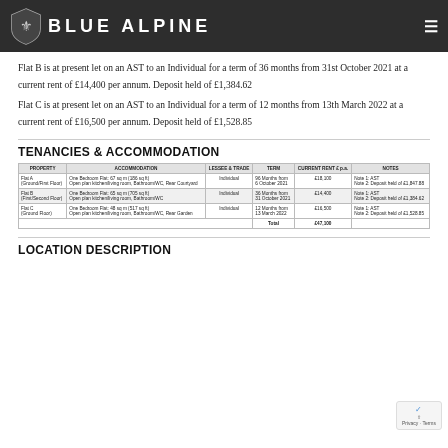BLUE ALPINE
Flat B is at present let on an AST to an Individual for a term of 36 months from 31st October 2021 at a current rent of £14,400 per annum. Deposit held of £1,384.62
Flat C is at present let on an AST to an Individual for a term of 12 months from 13th March 2022 at a current rent of £16,500 per annum. Deposit held of £1,528.85
TENANCIES & ACCOMMODATION
| PROPERTY | ACCOMMODATION | LESSEE & TRADE | TERM | CURRENT RENT £ p.a. | NOTES |
| --- | --- | --- | --- | --- | --- |
| Flat A (Ground/First Floor) | One Bedroom Flat: 67 sq m (186 sq ft)
Open plan kitchen/living room, Bathroom/WC, Rear Courtyard | Individual | 96 Months from 6 October 2021 | £18,100 | Note 1: AST
Note 2: Deposit held of £1,847.88 |
| Flat B (First/Second Floor) | One Bedroom Flat: 65 sq m (705 sq ft)
Open plan kitchen/living room, Bathroom/WC | Individual | 36 Months from 31 October 2021 | £14,400 | Note 1: AST
Note 2: Deposit held of £1,384.62 |
| Flat C (Ground Floor) | One Bedroom Flat: 48 sq m (517 sq ft)
Open plan kitchen/living room, Bathroom/WC, Rear Garden | Individual | 12 Months from 13 March 2022 | £16,500 | Note 1: AST
Note 2: Deposit held of £1,528.85 |
|  |  |  | Total | £47,100 |  |
LOCATION DESCRIPTION